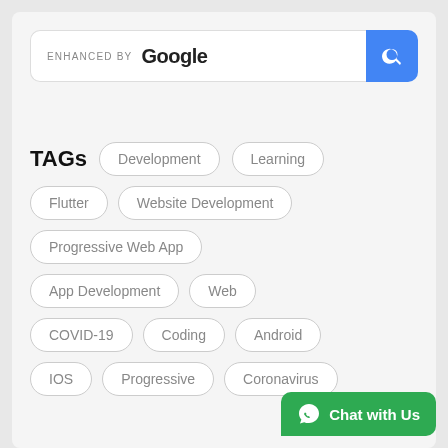[Figure (screenshot): Google custom search bar with 'ENHANCED BY Google' text and blue search button]
TAGs
Development
Learning
Flutter
Website Development
Progressive Web App
App Development
Web
COVID-19
Coding
Android
IOS
Progressive
Coronavirus
[Figure (other): WhatsApp Chat with Us green button at bottom right]